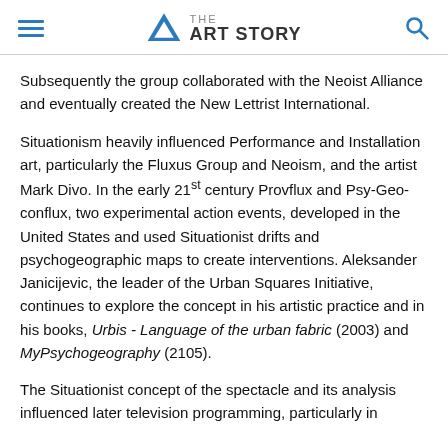THE ART STORY
Subsequently the group collaborated with the Neoist Alliance and eventually created the New Lettrist International.
Situationism heavily influenced Performance and Installation art, particularly the Fluxus Group and Neoism, and the artist Mark Divo. In the early 21st century Provflux and Psy-Geo-conflux, two experimental action events, developed in the United States and used Situationist drifts and psychogeographic maps to create interventions. Aleksander Janicijevic, the leader of the Urban Squares Initiative, continues to explore the concept in his artistic practice and in his books, Urbis - Language of the urban fabric (2003) and MyPsychogeography (2105).
The Situationist concept of the spectacle and its analysis influenced later television programming, particularly in